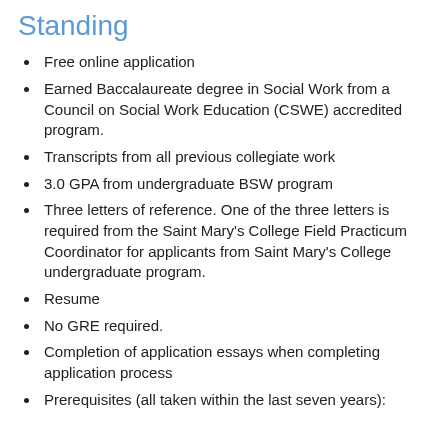Standing
Free online application
Earned Baccalaureate degree in Social Work from a Council on Social Work Education (CSWE) accredited program.
Transcripts from all previous collegiate work
3.0 GPA from undergraduate BSW program
Three letters of reference. One of the three letters is required from the Saint Mary's College Field Practicum Coordinator for applicants from Saint Mary's College undergraduate program.
Resume
No GRE required.
Completion of application essays when completing application process
Prerequisites (all taken within the last seven years):